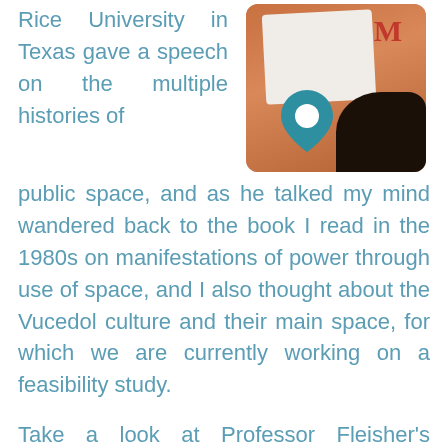Rice University in Texas gave a speech on the multiple histories of public space, and as he talked my mind wandered back to the book I read in the 1980s on manifestations of power through use of space, and I also thought about the Vucedol culture and their main space, for which we are currently working on a feasibility study.
[Figure (photo): Photo of a person holding a white card/paper with a location pin icon visible, against a warm orange-brown background]
Take a look at Professor Fleisher's speech below and read, or better yet, attend one of